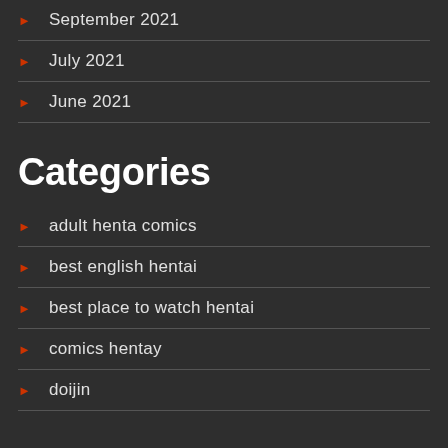September 2021
July 2021
June 2021
Categories
adult henta comics
best english hentai
best place to watch hentai
comics hentay
doijin